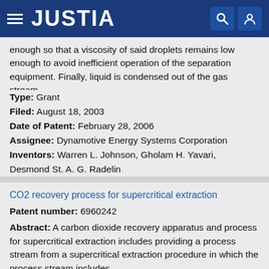JUSTIA
enough so that a viscosity of said droplets remains low enough to avoid inefficient operation of the separation equipment. Finally, liquid is condensed out of the gas stream.
Type: Grant
Filed: August 18, 2003
Date of Patent: February 28, 2006
Assignee: Dynamotive Energy Systems Corporation
Inventors: Warren L. Johnson, Gholam H. Yavari, Desmond St. A. G. Radelin
CO2 recovery process for supercritical extraction
Patent number: 6960242
Abstract: A carbon dioxide recovery apparatus and process for supercritical extraction includes providing a process stream from a supercritical extraction procedure in which the process stream includes